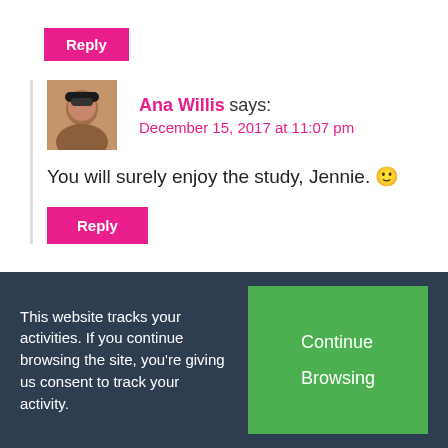Reply
Ana Willis says: December 15, 2017 at 11:07 pm
You will surely enjoy the study, Jennie. 🙂
Reply
Pingback: 30+ Awesome Christ-Centered Christmas Crafts To Help Kids Focus on Jesus
This website tracks your activities. If you continue browsing the site, you're giving us consent to track your activity.
Continue Browsing